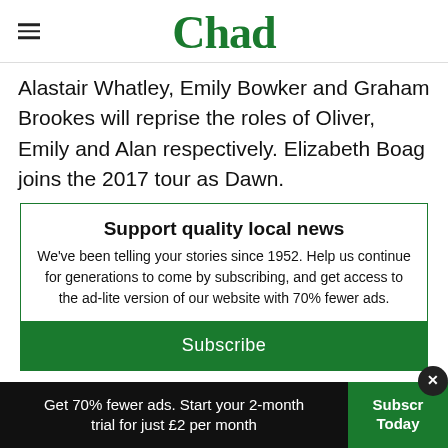Chad
Alastair Whatley, Emily Bowker and Graham Brookes will reprise the roles of Oliver, Emily and Alan respectively. Elizabeth Boag joins the 2017 tour as Dawn.
Support quality local news
We've been telling your stories since 1952. Help us continue for generations to come by subscribing, and get access to the ad-lite version of our website with 70% fewer ads.
Subscribe
Get 70% fewer ads. Start your 2-month trial for just £2 per month